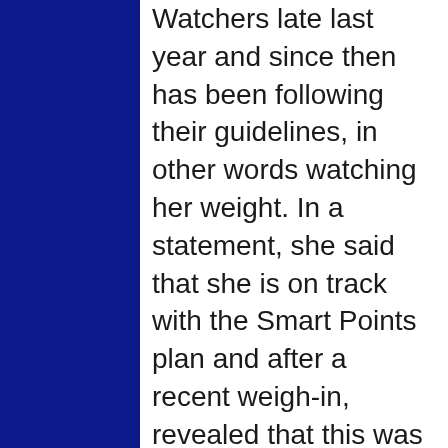Watchers late last year and since then has been following their guidelines, in other words watching her weight. In a statement, she said that she is on track with the Smart Points plan and after a recent weigh-in, revealed that this was the first time in almost 4 decades that she is carrying no holiday weight.
According to her, her yearly holiday season weight gain is around 10 pounds. However, this year, thanks to Weight Watchers, she actually managed to lose weight, in fact three pounds. She